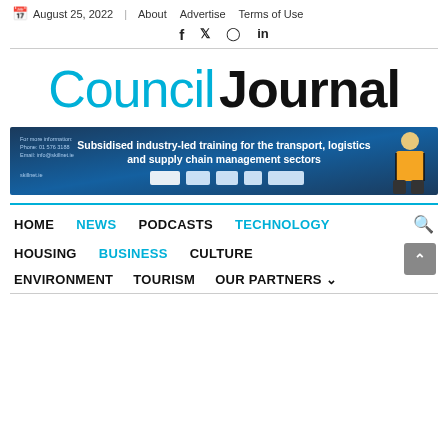August 25, 2022 | About  Advertise  Terms of Use
f  Twitter  Instagram  in
Council Journal
[Figure (infographic): Blue banner advertisement: 'Subsidised industry-led training for the transport, logistics and supply chain management sectors' with logos and a worker in high-vis vest. Phone: 01 576 3188, Email: info@skillnet.ie, skillnet.ie]
HOME  NEWS  PODCASTS  TECHNOLOGY  [search icon]
HOUSING  BUSINESS  CULTURE
ENVIRONMENT  TOURISM  OUR PARTNERS